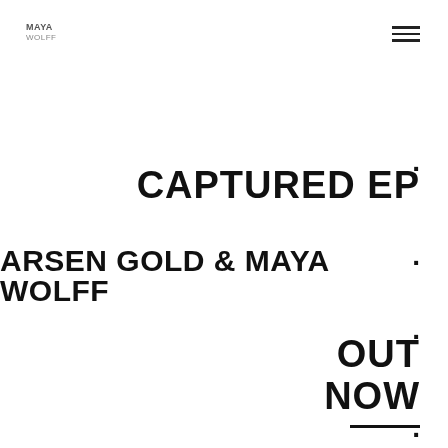[Figure (logo): MAYA WOLFF text logo in top left corner]
[Figure (illustration): Hamburger menu icon (three horizontal lines) in top right corner]
CAPTURED EP
ARSEN GOLD & MAYA WOLFF
OUT NOW